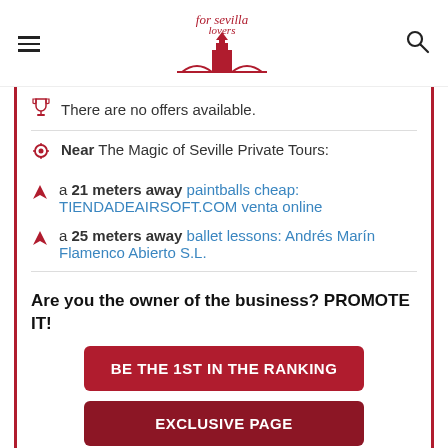for sevilla lovers (logo) — menu and search icons
There are no offers available.
Near The Magic of Seville Private Tours:
a 21 meters away paintballs cheap: TIENDADEAIRSOFT.COM venta online
a 25 meters away ballet lessons: Andrés Marín Flamenco Abierto S.L.
Are you the owner of the business? PROMOTE IT!
BE THE 1ST IN THE RANKING
EXCLUSIVE PAGE